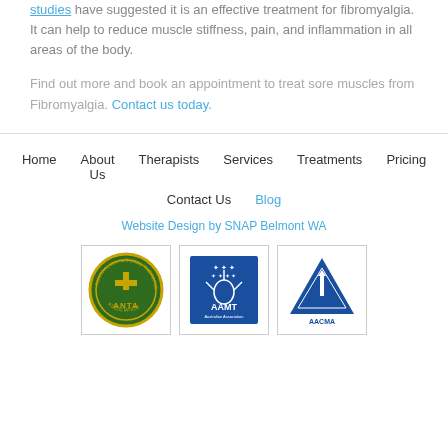studies have suggested it is an effective treatment for fibromyalgia. It can help to reduce muscle stiffness, pain, and inflammation in all areas of the body.
Find out more and book an appointment to treat sore muscles from Fibromyalgia. Contact us today.
Home | About Us | Therapists | Services | Treatments | Pricing | Contact Us | Blog
Website Design by SNAP Belmont WA
[Figure (logo): ANTA - Australian Natural Therapists Association circular badge logo]
[Figure (logo): AAMT - Australian Association of Massage Therapists logo with hand graphic]
[Figure (logo): AACMA - Australian Acupuncture and Chinese Medicine Association triangle logo]